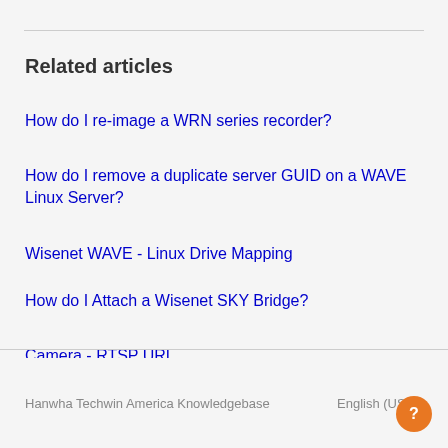Related articles
How do I re-image a WRN series recorder?
How do I remove a duplicate server GUID on a WAVE Linux Server?
Wisenet WAVE - Linux Drive Mapping
How do I Attach a Wisenet SKY Bridge?
Camera - RTSP URL
Hanwha Techwin America Knowledgebase    English (US)